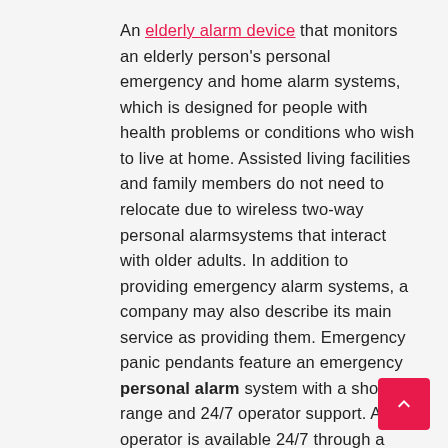An elderly alarm device that monitors an elderly person's personal emergency and home alarm systems, which is designed for people with health problems or conditions who wish to live at home. Assisted living facilities and family members do not need to relocate due to wireless two-way personal alarmsystems that interact with older adults. In addition to providing emergency alarm systems, a company may also describe its main service as providing them. Emergency panic pendants feature an emergency personal alarm system with a short range and 24/7 operator support. An operator is available 24/7 through a waterproof button on the wristband or necklace that connects to a speaker.